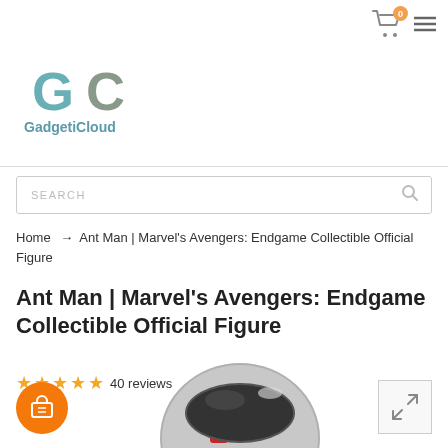GadgetiCloud — shopping site header with cart (0 items) and menu
[Figure (logo): GadgetiCloud logo: stylized 'GC' letters in teal/grey with 'GadgetiCloud' text below]
SEARCH
Home → Ant Man | Marvel's Avengers: Endgame Collectible Official Figure
Ant Man | Marvel's Avengers: Endgame Collectible Official Figure
★★★★★ 40 reviews
[Figure (photo): Ant Man helmet collectible figure — silver and red metallic helmet, partially visible at bottom of page]